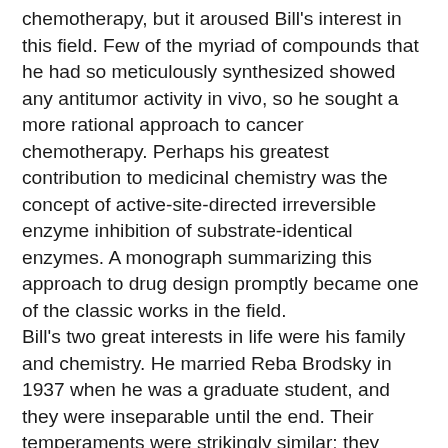chemotherapy, but it aroused Bill's interest in this field. Few of the myriad of compounds that he had so meticulously synthesized showed any antitumor activity in vivo, so he sought a more rational approach to cancer chemotherapy. Perhaps his greatest contribution to medicinal chemistry was the concept of active-site-directed irreversible enzyme inhibition of substrate-identical enzymes. A monograph summarizing this approach to drug design promptly became one of the classic works in the field. Bill's two great interests in life were his family and chemistry. He married Reba Brodsky in 1937 when he was a graduate student, and they were inseparable until the end. Their temperaments were strikingly similar; they were always cheerful, unpretentious, optimistic, and sanguine of outlook. Together with their three daughters, the Bakers were a tightly knit group whose pleasure in family life was communicated to their many friends.